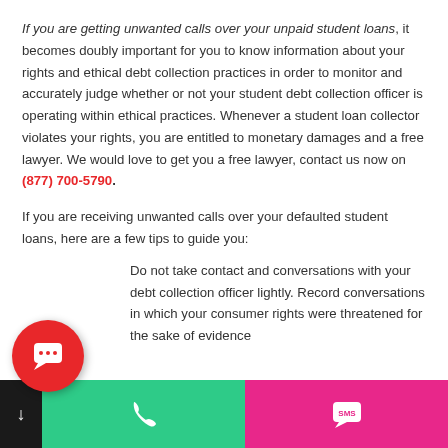If you are getting unwanted calls over your unpaid student loans, it becomes doubly important for you to know information about your rights and ethical debt collection practices in order to monitor and accurately judge whether or not your student debt collection officer is operating within ethical practices. Whenever a student loan collector violates your rights, you are entitled to monetary damages and a free lawyer. We would love to get you a free lawyer, contact us now on (877) 700-5790.
If you are receiving unwanted calls over your defaulted student loans, here are a few tips to guide you:
Do not take contact and conversations with your debt collection officer lightly. Record conversations in which your consumer rights were threatened for the sake of evidence